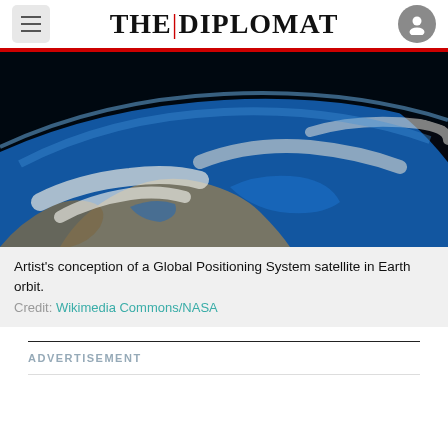THE|DIPLOMAT
[Figure (photo): Photograph of Earth from orbit showing clouds and landmasses against black space, used as illustration for GPS satellite article]
Artist's conception of a Global Positioning System satellite in Earth orbit.
Credit: Wikimedia Commons/NASA
ADVERTISEMENT